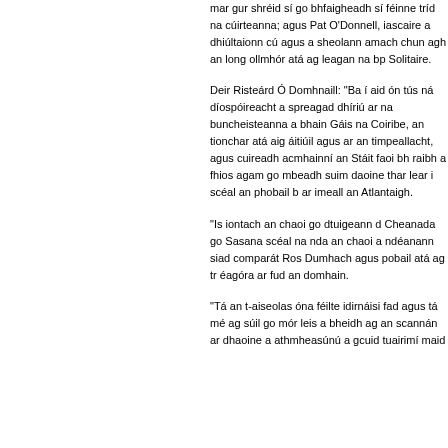mar gur shréid sí go bhfaigheadh sí féinne tríd na cúirteanna; agus Pat O'Donnell, iascaire a dhiúltaionn cú agus a sheolann amach chun agh an long ollmhór atá ag leagan na bp Solitaire.
Deir Risteárd Ó Domhnaill: "Ba í aid ón tús ná díospóireacht a spreagad dhíriú ar na buncheisteanna a bhain Gáis na Coiribe, an tionchar atá aig áitiúil agus ar an timpeallacht, agus cuireadh acmhainní an Stáit faoi bh raibh a fhios agam go mbeadh suim daoine thar lear i scéal an phobail b ar imeall an Atlantaigh.
"Is iontach an chaoi go dtuigeann d Cheanada go Sasana scéal na nda an chaoi a ndéanann siad comparát Ros Dumhach agus pobail atá ag tr éagóra ar fud an domhain.
"Tá an t-aiseolas óna féilte idirnáisi fad agus tá mé ag súil go mór leis a bheidh ag an scannán ar dhaoine a athmheasúnú a gcuid tuairimí maid